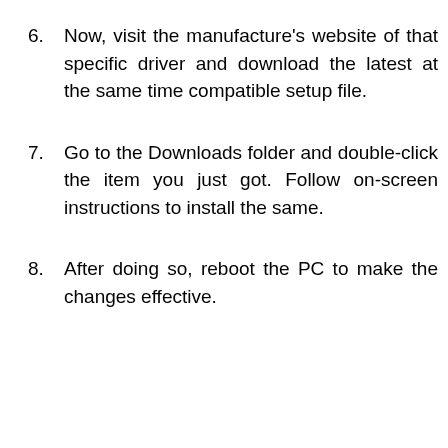6. Now, visit the manufacture's website of that specific driver and download the latest at the same time compatible setup file.
7. Go to the Downloads folder and double-click the item you just got. Follow on-screen instructions to install the same.
8. After doing so, reboot the PC to make the changes effective.